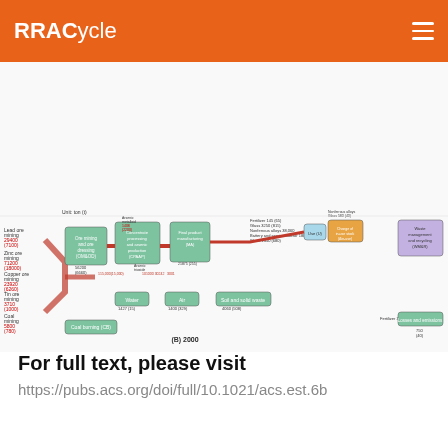rracycle
[Figure (flowchart): Two Sankey/flow diagrams showing arsenic material flow analysis for years 2000 (B) and 2010 (C). Flows include ore mining (lead, zinc, copper, tin, coal), ore dressing, concentrate processing and arsenic production, final product manufacturing, use, change of in-use stock, waste management and recycling, and losses and emissions. Water, Air, and Soil and solid waste are shown as environmental flows. A pie chart shows in-use stock breakdown by material category (Glass, Nonferrous alloys, Battery and semiconductor, Wood) for each year.]
For full text, please visit
https://pubs.acs.org/doi/full/10.1021/acs.est.6b